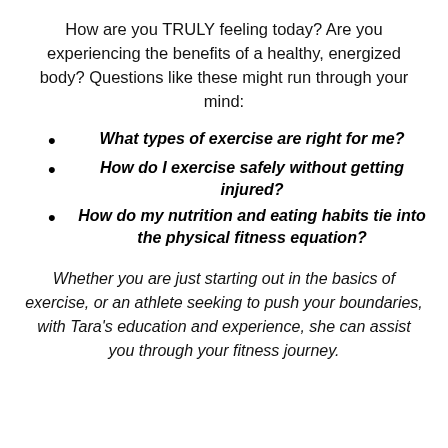How are you TRULY feeling today?  Are you experiencing the benefits of a healthy, energized body? Questions like these might run through your mind:
What types of exercise are right for me?
How do I exercise safely without getting injured?
How do my nutrition and eating habits tie into the physical fitness equation?
Whether you are just starting out in the basics of exercise, or an athlete seeking to push your boundaries, with Tara's education and experience, she can assist you through your fitness journey.